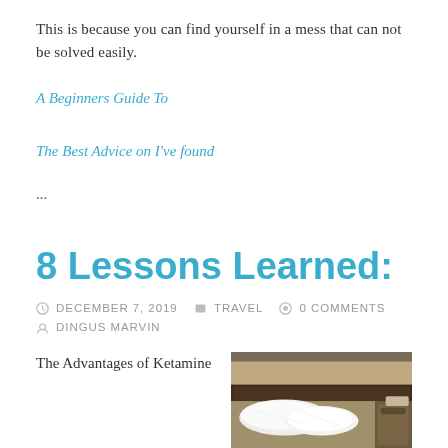This is because you can find yourself in a mess that can not be solved easily.
A Beginners Guide To
The Best Advice on I've found
...
8 Lessons Learned:
DECEMBER 7, 2019  TRAVEL  0 COMMENTS  DINGUS MARVIN
The Advantages of Ketamine
[Figure (photo): A photo of a bedroom scene with white bedding/pillows on a bed with a dark wooden headboard.]